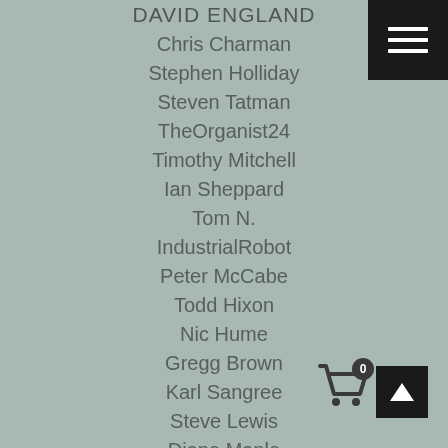DAVID ENGLAND
Chris Charman
Stephen Holliday
Steven Tatman
TheOrganist24
Timothy Mitchell
Ian Sheppard
Tom N.
IndustrialRobot
Peter McCabe
Todd Hixon
Nic Hume
Gregg Brown
Karl Sangree
Steve Lewis
Diane Maple
Daniel & Mischelle Blenkush
Larry
730M
[Figure (other): Hamburger menu icon (three white horizontal bars on black background) in top-right corner]
[Figure (other): Shopping cart icon with badge showing 0, and a black box with up arrow]